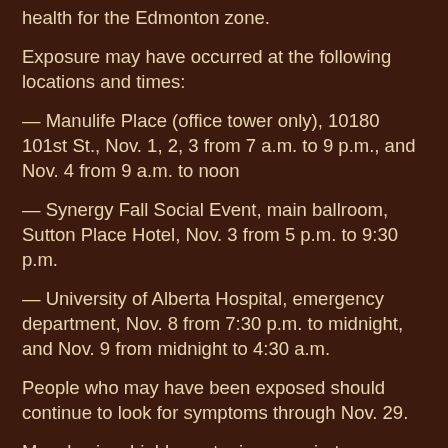health for the Edmonton zone.
Exposure may have occurred at the following locations and times:
— Manulife Place (office tower only), 10180 101st St., Nov. 1, 2, 3 from 7 a.m. to 9 p.m., and Nov. 4 from 9 a.m. to noon
— Synergy Fall Social Event, main ballroom, Sutton Place Hotel, Nov. 3 from 5 p.m. to 9:30 p.m.
— University of Alberta Hospital, emergency department, Nov. 8 from 7:30 p.m. to midnight, and Nov. 9 from midnight to 4:30 a.m.
People who may have been exposed should continue to look for symptoms through Nov. 29.
Measles is a highly contagious respiratory disease caused by a virus easily spread through the air, or by sneezing or coughing. Symptoms include a high fever, runny nose, cough and a rash that spreads all over the body. A red, blotchy rash usually starts behind the ears and on the face,